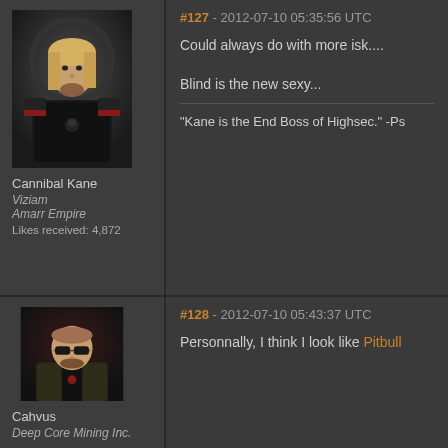[Figure (photo): Avatar image of Cannibal Kane, a male character with long blonde hair wearing black armor]
Cannibal Kane
Viziam
Amarr Empire
Likes received: 4,872
#127 - 2012-07-10 05:35:56 UTC
Could always do with more isk....
Blind is the new sexy...
"Kane is the End Boss of Highsec." -Ps
[Figure (photo): Avatar image of Cahvus, a bald male character wearing sunglasses]
Cahvus
Deep Core Mining Inc.
#128 - 2012-07-10 05:43:37 UTC
Personnally, I think I look like Pitbull